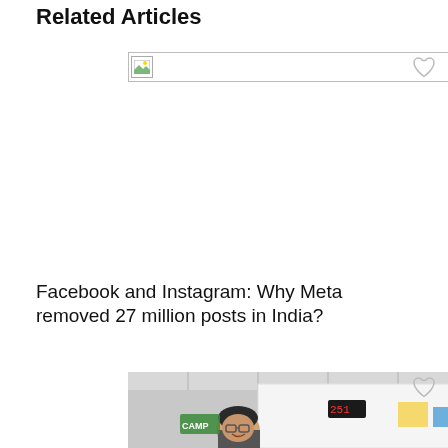Related Articles
[Figure (screenshot): Broken image placeholder with small icon on left side, wide horizontal bar with border]
[Figure (photo): Photo showing people in an office/classroom setting with a whiteboard, a person with glasses smiling and another person writing]
Facebook and Instagram: Why Meta removed 27 million posts in India?